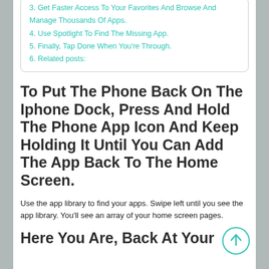3. Get Faster Access To Your Favorites And Browse And Manage Thousands Of Apps.
4. Use Spotlight To Find The Missing App.
5. Finally, Tap Done When You're Through.
6. Related posts:
To Put The Phone Back On The Iphone Dock, Press And Hold The Phone App Icon And Keep Holding It Until You Can Add The App Back To The Home Screen.
Use the app library to find your apps. Swipe left until you see the app library. You'll see an array of your home screen pages.
Here You Are, Back At Your